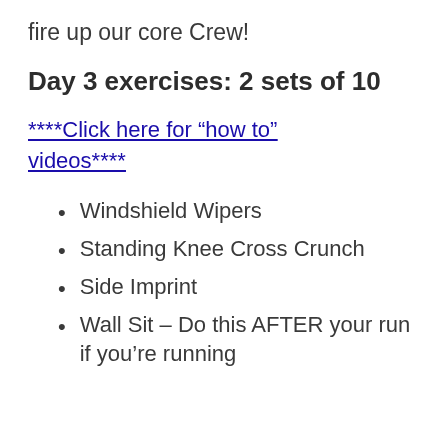fire up our core Crew!
Day 3 exercises: 2 sets of 10
****Click here for “how to” videos****
Windshield Wipers
Standing Knee Cross Crunch
Side Imprint
Wall Sit – Do this AFTER your run if you’re running